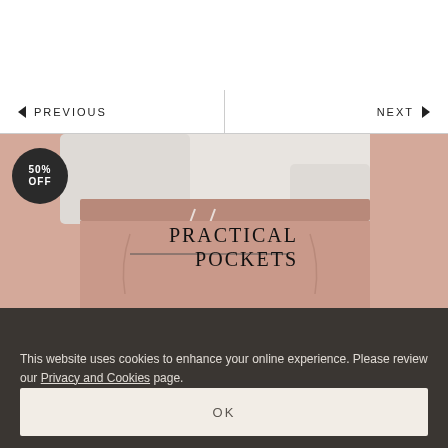◄  PREVIOUS
NEXT  ►
[Figure (photo): Close-up photo of a woman wearing mauve/dusty rose drawstring jogger shorts with elastic waistband, with a white long-sleeve top. A 50% OFF badge is overlaid on the top-left. Text overlay reads PRACTICAL POCKETS with a line pointing to the pocket area.]
COOKIE POLICY
This website uses cookies to enhance your online experience. Please review our Privacy and Cookies page.
OK